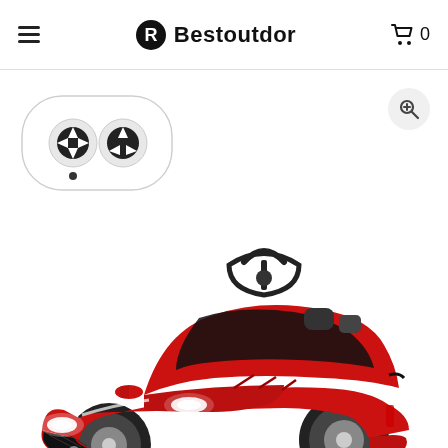Bestoutdor
[Figure (photo): White remote control with two black joystick/button dials, rounded rectangular shape]
[Figure (photo): Red Jaguar F-Type style children's ride-on electric car toy, shown at an angle with headlights on, black interior, large alloy-style wheels]
[Figure (other): Zoom magnifier icon button (circular grey background with magnifying glass symbol)]